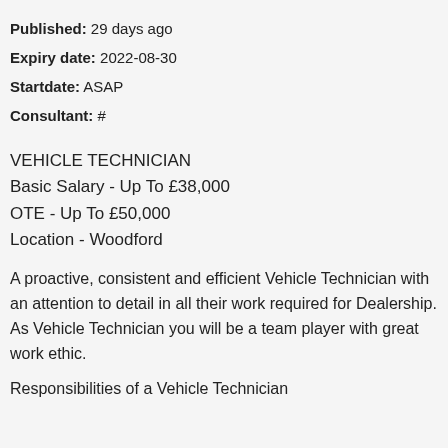Published: 29 days ago
Expiry date: 2022-08-30
Startdate: ASAP
Consultant: #
VEHICLE TECHNICIAN
Basic Salary - Up To £38,000
OTE - Up To £50,000
Location - Woodford
A proactive, consistent and efficient Vehicle Technician with an attention to detail in all their work required for Dealership. As Vehicle Technician you will be a team player with great work ethic.
Responsibilities of a Vehicle Technician